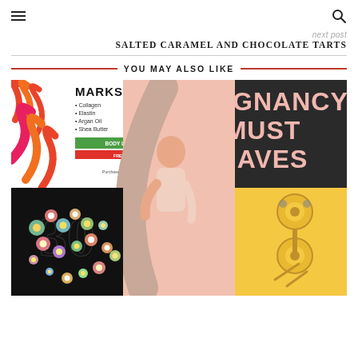☰  🔍
next post
SALTED CARAMEL AND CHOCOLATE TARTS
YOU MAY ALSO LIKE
[Figure (photo): A collage image with 'PREGNANCY MUST HAVES' text on dark background, a pregnant woman hugging a body pillow, stretch mark product packaging, colorful wave patterns, floral number 30 on black background, and yellow panel with items.]